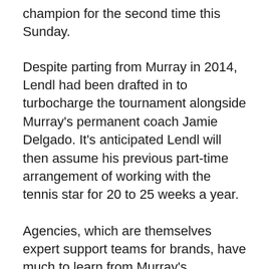champion for the second time this Sunday.
Despite parting from Murray in 2014, Lendl had been drafted in to turbocharge the tournament alongside Murray's permanent coach Jamie Delgado. It's anticipated Lendl will then assume his previous part-time arrangement of working with the tennis star for 20 to 25 weeks a year.
Agencies, which are themselves expert support teams for brands, have much to learn from Murray's exceptionally high standards and lively approach to maintaining his own coaching squad.
With agencies under pressure to perform with greater speed, agility and commercial acumen, while achieving award-winning levels of creativity and innovation, traditional client-agency relationships no longer work. Instead of being left to it for weeks on end until they